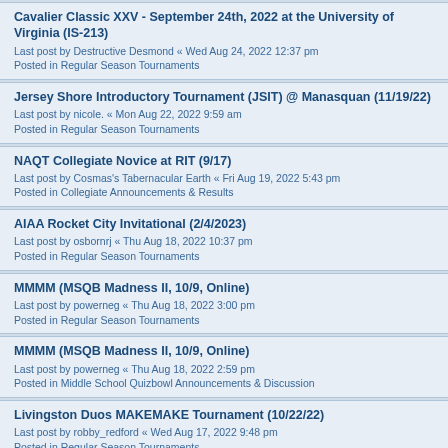Cavalier Classic XXV - September 24th, 2022 at the University of Virginia (IS-213)
Last post by Destructive Desmond « Wed Aug 24, 2022 12:37 pm
Posted in Regular Season Tournaments
Jersey Shore Introductory Tournament (JSIT) @ Manasquan (11/19/22)
Last post by nicole. « Mon Aug 22, 2022 9:59 am
Posted in Regular Season Tournaments
NAQT Collegiate Novice at RIT (9/17)
Last post by Cosmas's Tabernacular Earth « Fri Aug 19, 2022 5:43 pm
Posted in Collegiate Announcements & Results
AIAA Rocket City Invitational (2/4/2023)
Last post by osbornrj « Thu Aug 18, 2022 10:37 pm
Posted in Regular Season Tournaments
MMMM (MSQB Madness II, 10/9, Online)
Last post by powerneg « Thu Aug 18, 2022 3:00 pm
Posted in Regular Season Tournaments
MMMM (MSQB Madness II, 10/9, Online)
Last post by powerneg « Thu Aug 18, 2022 2:59 pm
Posted in Middle School Quizbowl Announcements & Discussion
Livingston Duos MAKEMAKE Tournament (10/22/22)
Last post by robby_redford « Wed Aug 17, 2022 9:48 pm
Posted in Regular Season Tournaments
Mellon Bowl XIX, Pittsburgh (10/29/2022)
Last post by commendatore « Wed Aug 17, 2022 4:12 pm
Posted in Regular Season Tournaments